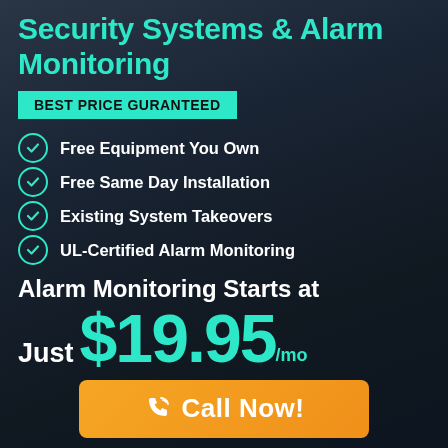Security Systems & Alarm Monitoring
BEST PRICE GURANTEED
Free Equipment You Own
Free Same Day Installation
Existing System Takeovers
UL-Certified Alarm Monitoring
Alarm Monitoring Starts at Just $19.95/mo
Call Now!